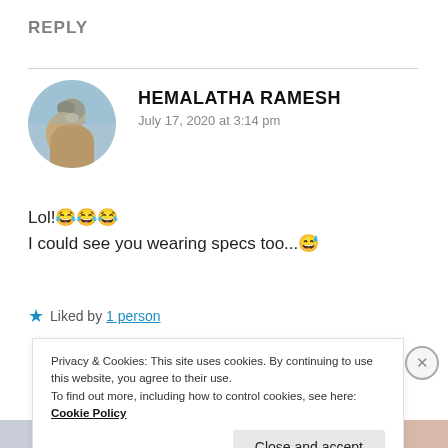REPLY
[Figure (photo): Circular avatar photo of Hemalatha Ramesh showing a person against a blue sky background]
HEMALATHA RAMESH
July 17, 2020 at 3:14 pm
Lol!😂😂😂
I could see you wearing specs too...😅
★ Liked by 1 person
Privacy & Cookies: This site uses cookies. By continuing to use this website, you agree to their use.
To find out more, including how to control cookies, see here: Cookie Policy
Close and accept